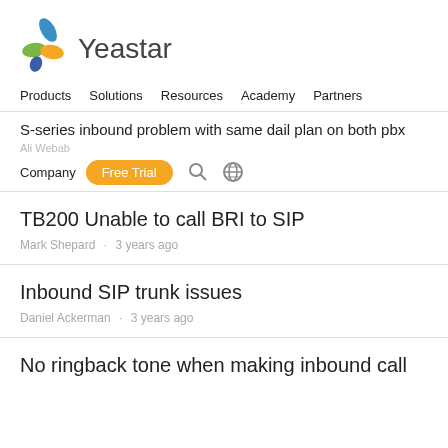[Figure (logo): Yeastar logo with colorful leaf/dot icon and 'Yeastar' text in dark gray]
Products   Solutions   Resources   Academy   Partners
S-series inbound problem with same dail plan on both pbx
Company  Free Trial
TB200 Unable to call BRI to SIP
Mark Shepard  •  3 years ago
Inbound SIP trunk issues
Daniel Ackerman  •  3 years ago
No ringback tone when making inbound call